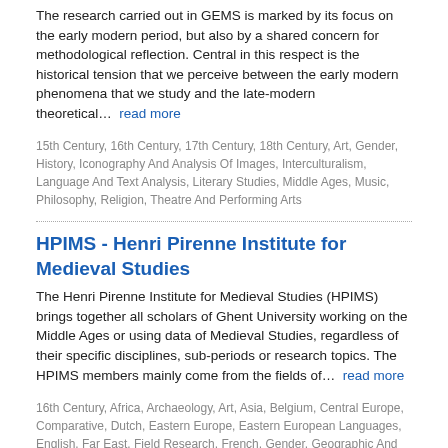The research carried out in GEMS is marked by its focus on the early modern period, but also by a shared concern for methodological reflection. Central in this respect is the historical tension that we perceive between the early modern phenomena that we study and the late-modern theoretical…  read more
15th Century, 16th Century, 17th Century, 18th Century, Art, Gender, History, Iconography And Analysis Of Images, Interculturalism, Language And Text Analysis, Literary Studies, Middle Ages, Music, Philosophy, Religion, Theatre And Performing Arts
HPIMS - Henri Pirenne Institute for Medieval Studies
The Henri Pirenne Institute for Medieval Studies (HPIMS) brings together all scholars of Ghent University working on the Middle Ages or using data of Medieval Studies, regardless of their specific disciplines, sub-periods or research topics. The HPIMS members mainly come from the fields of…  read more
16th Century, Africa, Archaeology, Art, Asia, Belgium, Central Europe, Comparative, Dutch, Eastern Europe, Eastern European Languages, English, Far East, Field Research, French, Gender, Geographic And Map Based, German, Greek, History, Iconography And Analysis Of Images,